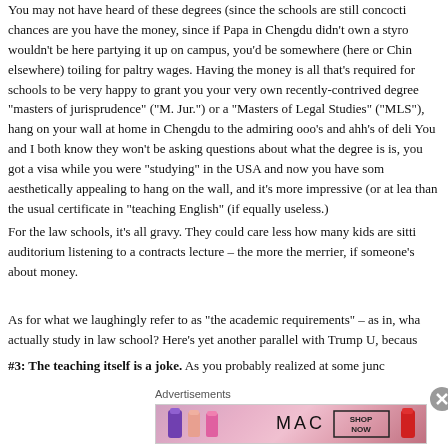You may not have heard of these degrees (since the schools are still concocting chances are you have the money, since if Papa in Chengdu didn't own a styro wouldn't be here partying it up on campus, you'd be somewhere (here or Chin elsewhere) toiling for paltry wages. Having the money is all that's required for schools to be very happy to grant you your very own recently-contrived degree "masters of jurisprudence" ("M. Jur.") or a "Masters of Legal Studies" ("MLS"), hang on your wall at home in Chengdu to the admiring ooo's and ahh's of deli You and I both know they won't be asking questions about what the degree is is, you got a visa while you were "studying" in the USA and now you have som aesthetically appealing to hang on the wall, and it's more impressive (or at lea than the usual certificate in "teaching English" (if equally useless.)
For the law schools, it's all gravy. They could care less how many kids are sitti auditorium listening to a contracts lecture – the more the merrier, if someone's about money.
As for what we laughingly refer to as "the academic requirements" – as in, wha actually study in law school? Here's yet another parallel with Trump U, becaus
#3: The teaching itself is a joke. As you probably realized at some junc
Advertisements
[Figure (photo): MAC Cosmetics advertisement showing lipsticks and a SHOP NOW button]